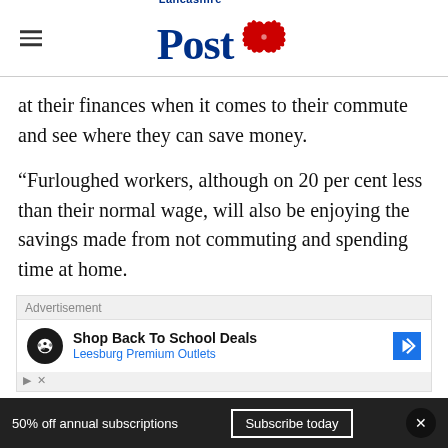Lancashire Post
at their finances when it comes to their commute and see where they can save money.
“Furloughed workers, although on 20 per cent less than their normal wage, will also be enjoying the savings made from not commuting and spending time at home.
Advertisement
Shop Back To School Deals
Leesburg Premium Outlets
50% off annual subscriptions   Subscribe today